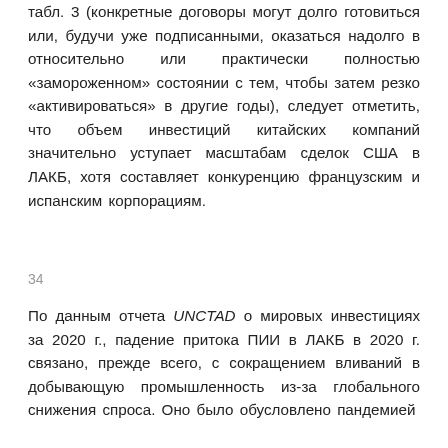табл. 3 (конкретные договоры могут долго готовиться или, будучи уже подписанными, оказаться надолго в относительно или практически полностью «замороженном» состоянии с тем, чтобы затем резко «активироваться» в другие годы), следует отметить, что объем инвестиций китайских компаний значительно уступает масштабам сделок США в ЛАКБ, хотя составляет конкуренцию французским и испанским корпорациям.
34
По данным отчета UNCTAD о мировых инвестициях за 2020 г., падение притока ПИИ в ЛАКБ в 2020 г. связано, прежде всего, с сокращением вливаний в добывающую промышленность из-за глобального снижения спроса. Оно было обусловлено пандемией